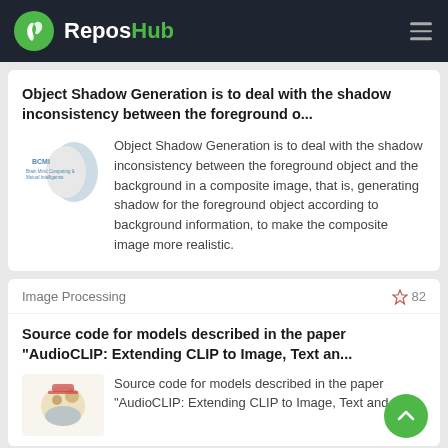ReposHub
Object Shadow Generation is to deal with the shadow inconsistency between the foreground o...
Object Shadow Generation is to deal with the shadow inconsistency between the foreground object and the background in a composite image, that is, generating shadow for the foreground object according to background information, to make the composite image more realistic.
Image Processing   ☆ 82
Source code for models described in the paper "AudioCLIP: Extending CLIP to Image, Text an...
Source code for models described in the paper "AudioCLIP: Extending CLIP to Image, Text and